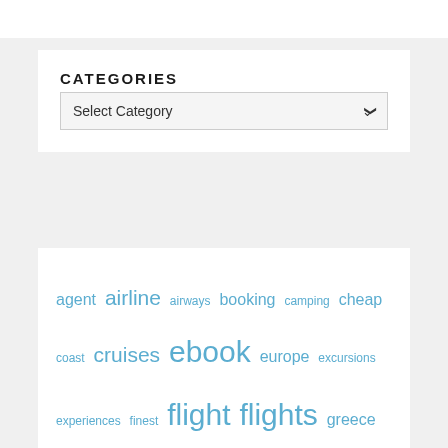CATEGORIES
Select Category
[Figure (infographic): Tag cloud with travel-related keywords in varying sizes: agent, airline, airways, booking, camping, cheap, coast, cruises, ebook, europe, excursions, experiences, finest, flight, flights, greece, guide, highway, holiday, ideas, indonesia, insurance, international, island, journey, lifetime, lowcost, miles, multi, online, packages]